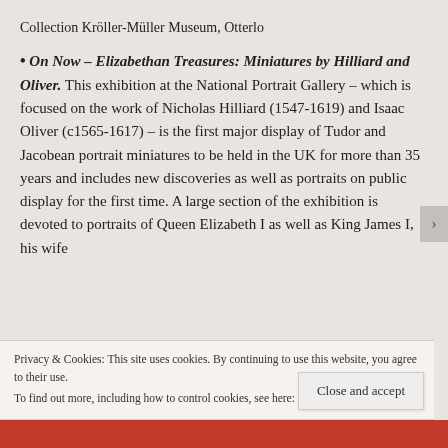Collection Kröller-Müller Museum, Otterlo
• On Now – Elizabethan Treasures: Miniatures by Hilliard and Oliver. This exhibition at the National Portrait Gallery – which is focused on the work of Nicholas Hilliard (1547-1619) and Isaac Oliver (c1565-1617) – is the first major display of Tudor and Jacobean portrait miniatures to be held in the UK for more than 35 years and includes new discoveries as well as portraits on public display for the first time. A large section of the exhibition is devoted to portraits of Queen Elizabeth I as well as King James I, his wife
Privacy & Cookies: This site uses cookies. By continuing to use this website, you agree to their use.
To find out more, including how to control cookies, see here: Cookie Policy
Close and accept